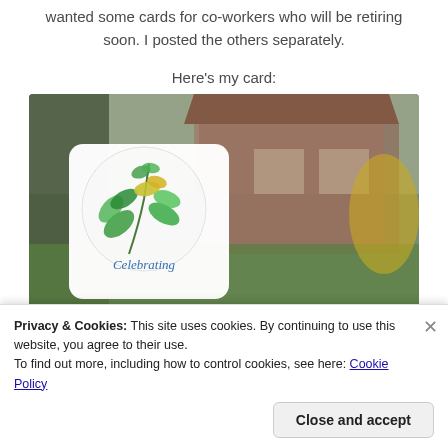wanted some cards for co-workers who will be retiring soon. I posted the others separately.
Here's my card:
[Figure (photo): A greeting card featuring a watercolor branch with green and yellow leaves, placed over a circle with a dotted pattern. The word 'Celebrating' appears in blue script at the bottom of the card. The card is photographed outdoors in front of a blurred house/cottage with a red roof and autumn foliage in the background.]
Privacy & Cookies: This site uses cookies. By continuing to use this website, you agree to their use.
To find out more, including how to control cookies, see here: Cookie Policy
Close and accept